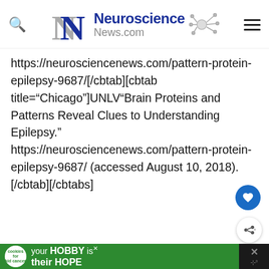Neuroscience News.com
https://neurosciencenews.com/pattern-protein-epilepsy-9687/[/cbtab][cbtab title="Chicago"]UNLV"Brain Proteins and Patterns Reveal Clues to Understanding Epilepsy." https://neurosciencenews.com/pattern-protein-epilepsy-9687/ (accessed August 10, 2018). [/cbtab][/cbtabs]
[Figure (screenshot): Partial screenshot of a person visible at bottom of page before the advertisement]
[Figure (screenshot): Advertisement banner: cookies for kid cancer - your HOBBY is their HOPE]